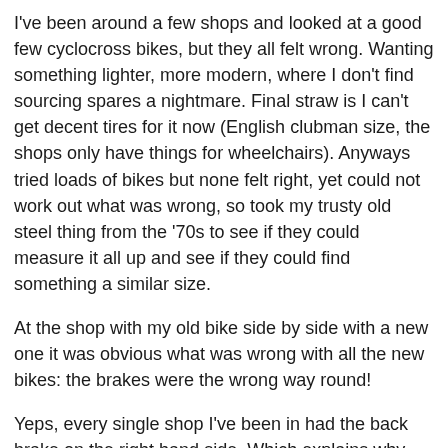I've been around a few shops and looked at a good few cyclocross bikes, but they all felt wrong. Wanting something lighter, more modern, where I don't find sourcing spares a nightmare. Final straw is I can't get decent tires for it now (English clubman size, the shops only have things for wheelchairs). Anyways tried loads of bikes but none felt right, yet could not work out what was wrong, so took my trusty old steel thing from the '70s to see if they could measure it all up and see if they could find something a similar size.
At the shop with my old bike side by side with a new one it was obvious what was wrong with all the new bikes: the brakes were the wrong way round!
Yeps, every single shop I've been in had the back brake on the right hand side. Which explains why they felt so wrong. Inquired of the assistant and he agreed it seemed wrong but they were only allowed to sell them that way around.
But surely, it's a little suicidal for a cyclocross bike to have the front brake on the left hand side?